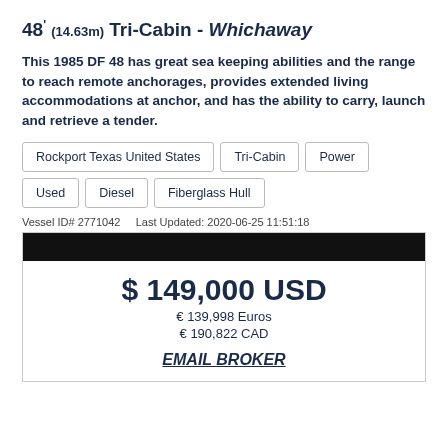48' (14.63m) Tri-Cabin - Whichaway
This 1985 DF 48 has great sea keeping abilities and the range to reach remote anchorages, provides extended living accommodations at anchor, and has the ability to carry, launch and retrieve a tender.
Rockport Texas United States
Tri-Cabin
Power
Used
Diesel
Fiberglass Hull
Vessel ID# 2771042    Last Updated: 2020-06-25 11:51:18
$ 149,000 USD
€ 139,998 Euros
€ 190,822 CAD
EMAIL BROKER